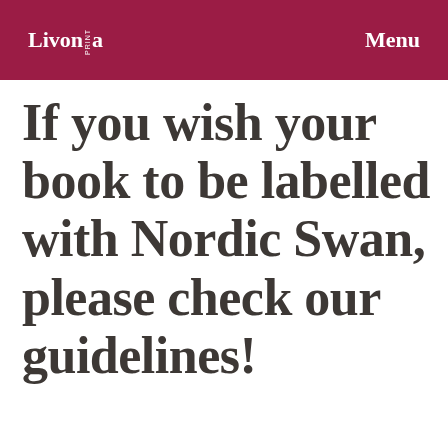Livonia Print | Menu
If you wish your book to be labelled with Nordic Swan, please check our guidelines!